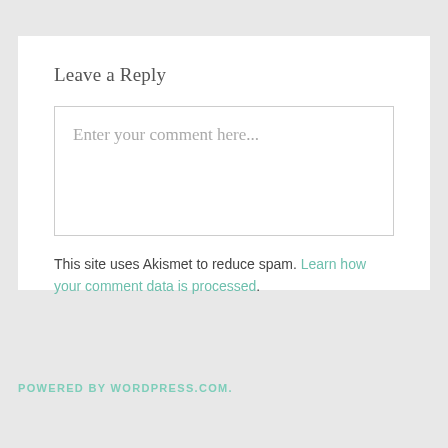Leave a Reply
Enter your comment here...
This site uses Akismet to reduce spam. Learn how your comment data is processed.
POWERED BY WORDPRESS.COM.